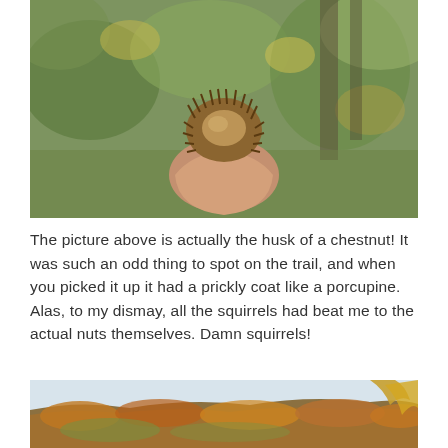[Figure (photo): A hand holding an open chestnut husk with spiky brown fibers, set against a blurred autumn forest background with green and yellow foliage.]
The picture above is actually the husk of a chestnut! It was such an odd thing to spot on the trail, and when you picked it up it had a prickly coat like a porcupine. Alas, to my dismay, all the squirrels had beat me to the actual nuts themselves. Damn squirrels!
[Figure (photo): A landscape view of rolling hills covered in autumn foliage with orange, red, and yellow colors, with some leaves visible in the foreground against a light sky.]